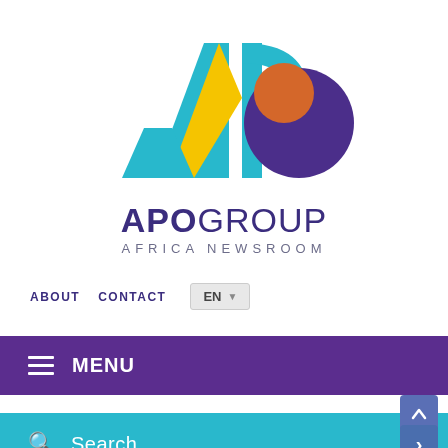[Figure (logo): APO Group Africa Newsroom logo — stylized letters A, P, O in cyan/teal and yellow with a purple circle, above bold text 'APOGROUP' and subtitle 'AFRICA NEWSROOM']
ABOUT  CONTACT  EN
≡  MENU
🔍  Search
ANNOUNCEMENTS  < >